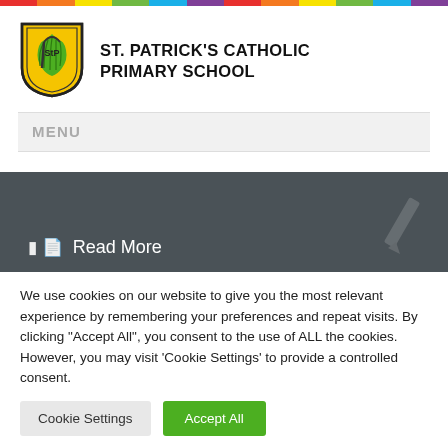[Figure (logo): St. Patrick's Catholic Primary School shield logo with yellow background and green harp/leaf design, with school name text to the right]
ST. PATRICK'S CATHOLIC PRIMARY SCHOOL
MENU
Read More
We use cookies on our website to give you the most relevant experience by remembering your preferences and repeat visits. By clicking "Accept All", you consent to the use of ALL the cookies. However, you may visit 'Cookie Settings' to provide a controlled consent.
Cookie Settings
Accept All